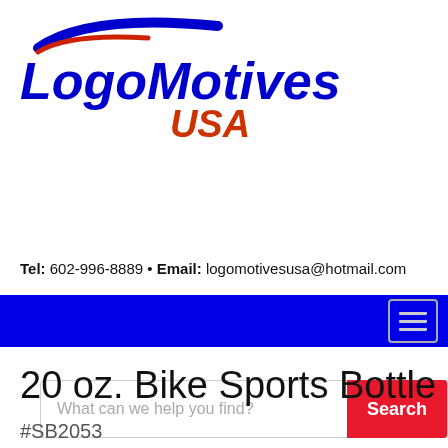[Figure (logo): LogoMotives USA logo with blue italic bold text and swoosh graphic in blue and red]
What can we help you find? Search
Tel: 602-996-8889 • Email: logomotivesusa@hotmail.com
20 oz. Bike Sports Bottle
#SB2053